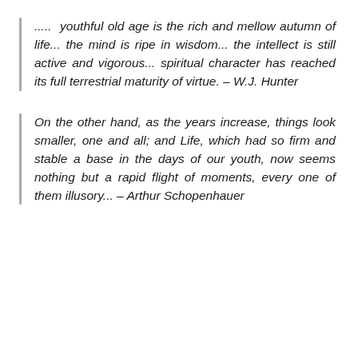.....  youthful old age is the rich and mellow autumn of life... the mind is ripe in wisdom... the intellect is still active and vigorous... spiritual character has reached its full terrestrial maturity of virtue. – W.J. Hunter
On the other hand, as the years increase, things look smaller, one and all; and Life, which had so firm and stable a base in the days of our youth, now seems nothing but a rapid flight of moments, every one of them illusory... – Arthur Schopenhauer